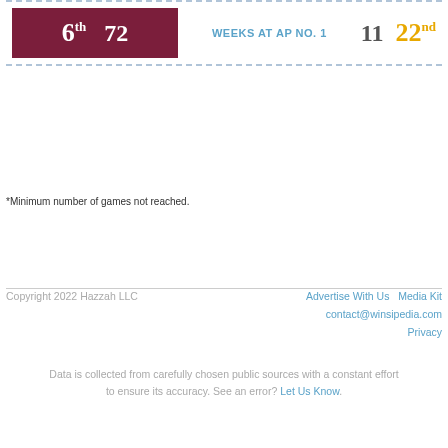| Rank | Wins | WEEKS AT AP NO. 1 | Count | AP Rank |
| --- | --- | --- | --- | --- |
| 6th | 72 | WEEKS AT AP NO. 1 | 11 | 22nd |
*Minimum number of games not reached.
Copyright 2022 Hazzah LLC | Advertise With Us | Media Kit | contact@winsipedia.com | Privacy
Data is collected from carefully chosen public sources with a constant effort to ensure its accuracy. See an error? Let Us Know.